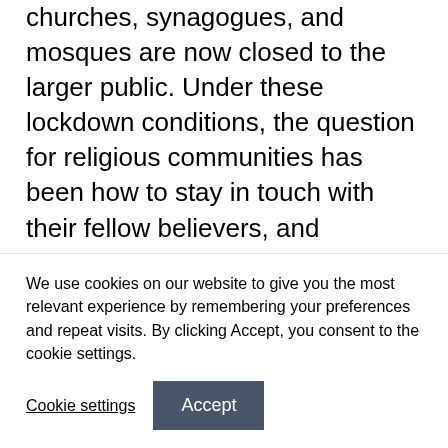churches, synagogues, and mosques are now closed to the larger public. Under these lockdown conditions, the question for religious communities has been how to stay in touch with their fellow believers, and importantly, how to practice religious celebrations such as Passover, Ramadan, and Easter. A compelling answer to these communities has been embracing digital possibilities. Religious communities have eagerly accepted many of these. But this has not proven to be straightforward, with some communities indeed struggling to relocate their religion from their traditional places of worship to
We use cookies on our website to give you the most relevant experience by remembering your preferences and repeat visits. By clicking Accept, you consent to the cookie settings.